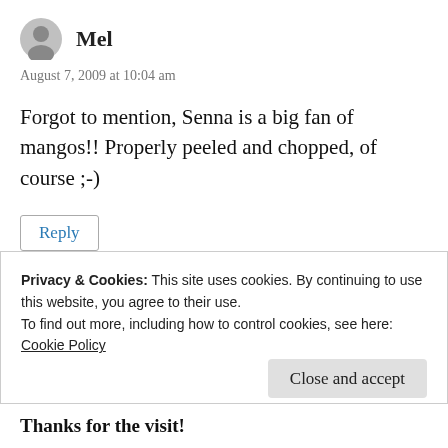Mel
August 7, 2009 at 10:04 am
Forgot to mention, Senna is a big fan of mangos!! Properly peeled and chopped, of course ;-)
Reply
Privacy & Cookies: This site uses cookies. By continuing to use this website, you agree to their use.
To find out more, including how to control cookies, see here:
Cookie Policy
Close and accept
Thanks for the visit!